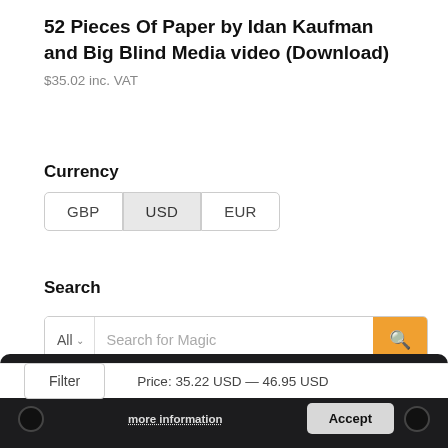52 Pieces Of Paper by Idan Kaufman and Big Blind Media video (Download)
$35.02 inc. VAT
Currency
GBP  USD  EUR
Search
All  Search for Magic
By continuing to use the site, you agree to the use of cookies.
more information   Accept
Price Filter
Filter   Price: 35.22 USD — 46.95 USD